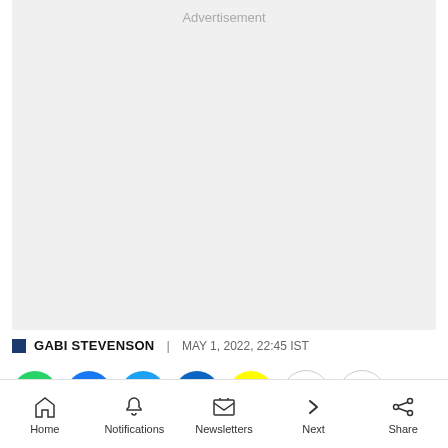[Figure (other): Advertisement placeholder — light grey rectangle with 'Advertisement' label at top center]
GABI STEVENSON | MAY 1, 2022, 22:45 IST
[Figure (infographic): Social sharing icons row: WhatsApp (green), Facebook (blue), Twitter (light blue), LinkedIn (dark blue), Snapchat (yellow), Link (grey outline), More (grey outline with three dots)]
Home | Notifications | Newsletters | Next | Share